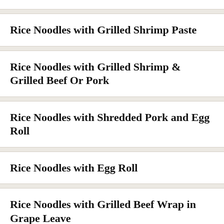Rice Noodles with Grilled Shrimp Paste
Rice Noodles with Grilled Shrimp & Grilled Beef Or Pork
Rice Noodles with Shredded Pork and Egg Roll
Rice Noodles with Egg Roll
Rice Noodles with Grilled Beef Wrap in Grape Leave
Rice Noodles with Grilled Pork Meat Ball and Grilled Shrimp Paste